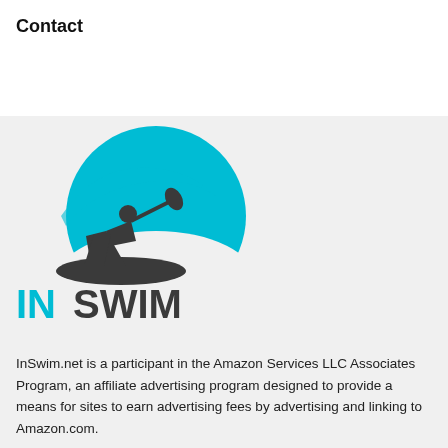Contact
[Figure (logo): InSwim.net logo featuring a surfer/paddleboarder silhouette with a cyan wave, and the text IN SWIM below]
InSwim.net is a participant in the Amazon Services LLC Associates Program, an affiliate advertising program designed to provide a means for sites to earn advertising fees by advertising and linking to Amazon.com.